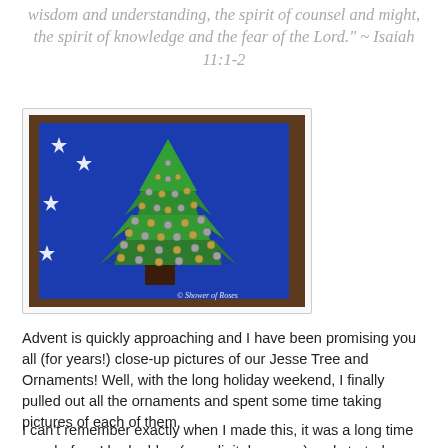wisdom and understanding, the spirit of counsel and might, the spirit of knowledge and the fear of the Lord." ~ Isaiah 11:1-2
[Figure (photo): A felt Jesse Tree ornament laid flat on a wooden table – a green felt Christmas tree shape with gold/silver round ornament beads pinned to it, set against a blue felt background with white star shapes. A brown rectangular trunk is visible. Watermark reads '© Shower of Roses'.]
Advent is quickly approaching and I have been promising you all (for years!) close-up pictures of our Jesse Tree and Ornaments!  Well, with the long holiday weekend, I finally pulled out all the ornaments and spent some time taking pictures of each of them.
I can't remember exactly when I made this, it was a long time ago, before I had a blog (or a digital camera) and started